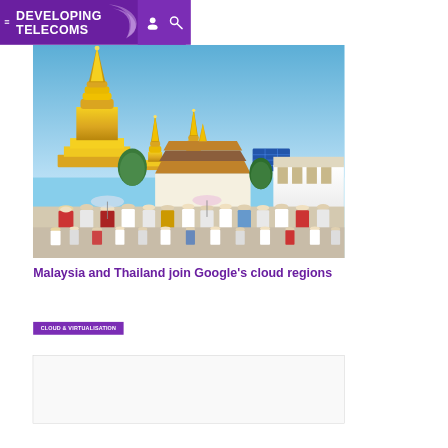DEVELOPING TELECOMS
[Figure (photo): Aerial view of Thai Buddhist temple complex (Wat Phra Kaew / Grand Palace area) with golden spires and crowds of visitors in Bangkok, Thailand]
Malaysia and Thailand join Google’s cloud regions
CLOUD & VIRTUALISATION
[Figure (other): Advertisement or content placeholder box]